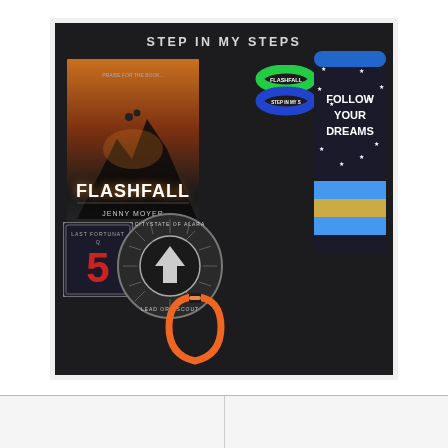[Figure (photo): Flat lay photo on a dark black fabric background showing: a book titled 'FLASHFALL' by Jenny Moyer, two rubber wristbands (one green labeled FLASHFALL, one blue labeled STEP IN MY S...), a pair of socks with stars and text 'FOLLOW YOUR DREAMS' in blue, black and gold stripes, two embroidered patches (one labeled 'LEAD ORE SCOUT' with a circular emblem, one with number '5'), and an orange carabiner clip. Text at top of image reads 'STEP IN MY STEPS'.]
[Figure (screenshot): Bottom section showing two column UI elements/interface panels, partially visible at bottom of page.]